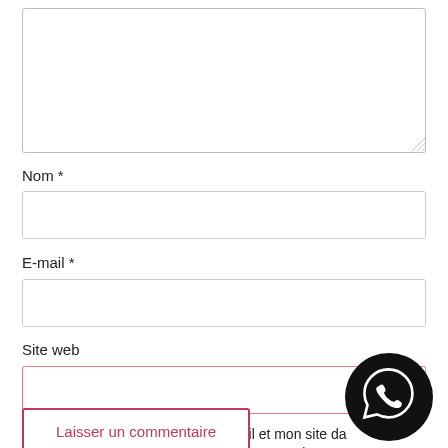[Figure (screenshot): Textarea input box (empty, with resize handle at bottom right)]
Nom *
[Figure (screenshot): Text input box for Nom field]
E-mail *
[Figure (screenshot): Text input box for E-mail field]
Site web
[Figure (screenshot): Text input box for Site web field (pink border)]
Enregistrer mon nom, mon e-mail et mon site da navigateur pour mon prochain commentaire.
Laisser un commentaire
[Figure (logo): WhatsApp icon in black circle]